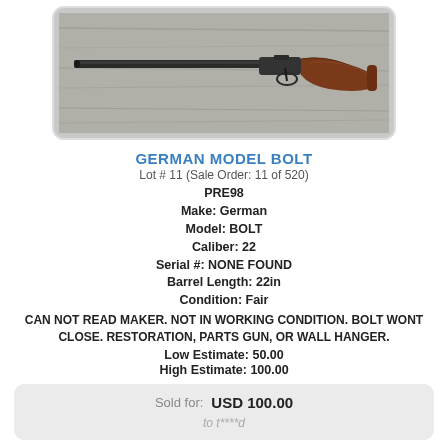[Figure (photo): A bolt-action rifle laid horizontally on a light wood/gray surface. The rifle has a long dark metal barrel and a brown wooden stock.]
GERMAN MODEL BOLT
Lot # 11 (Sale Order: 11 of 520)
PRE98
Make: German
Model: BOLT
Caliber: 22
Serial #: NONE FOUND
Barrel Length: 22in
Condition: Fair
CAN NOT READ MAKER. NOT IN WORKING CONDITION. BOLT WONT CLOSE. RESTORATION, PARTS GUN, OR WALL HANGER.
Low Estimate: 50.00
High Estimate: 100.00
Sold for: USD 100.00
to t****d